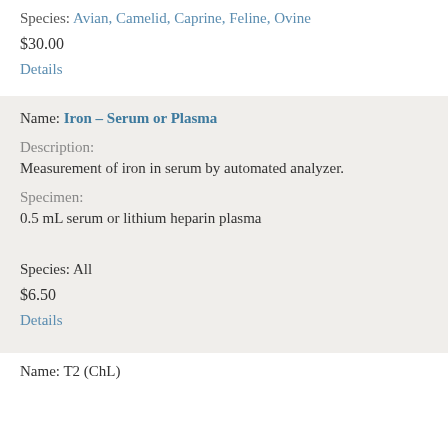Species: Avian, Camelid, Caprine, Feline, Ovine
$30.00
Details
Name: Iron – Serum or Plasma
Description:
Measurement of iron in serum by automated analyzer.
Specimen:
0.5 mL serum or lithium heparin plasma
Species: All
$6.50
Details
Name: T2 (ChL)